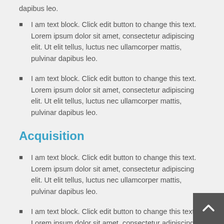dapibus leo.
I am text block. Click edit button to change this text. Lorem ipsum dolor sit amet, consectetur adipiscing elit. Ut elit tellus, luctus nec ullamcorper mattis, pulvinar dapibus leo.
I am text block. Click edit button to change this text. Lorem ipsum dolor sit amet, consectetur adipiscing elit. Ut elit tellus, luctus nec ullamcorper mattis, pulvinar dapibus leo.
Acquisition
I am text block. Click edit button to change this text. Lorem ipsum dolor sit amet, consectetur adipiscing elit. Ut elit tellus, luctus nec ullamcorper mattis, pulvinar dapibus leo.
I am text block. Click edit button to change this text. Lorem ipsum dolor sit amet, consectetur adipiscing elit. Ut elit tellus, luctus nec ullamcorper mattis, pulvinar